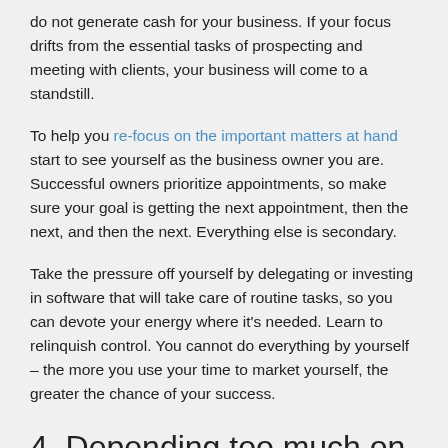do not generate cash for your business. If your focus drifts from the essential tasks of prospecting and meeting with clients, your business will come to a standstill.
To help you re-focus on the important matters at hand start to see yourself as the business owner you are. Successful owners prioritize appointments, so make sure your goal is getting the next appointment, then the next, and then the next. Everything else is secondary.
Take the pressure off yourself by delegating or investing in software that will take care of routine tasks, so you can devote your energy where it's needed. Learn to relinquish control. You cannot do everything by yourself – the more you use your time to market yourself, the greater the chance of your success.
4. Depending too much on referrals